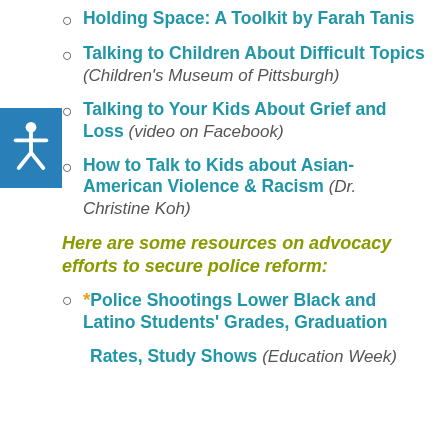Holding Space: A Toolkit by Farah Tanis
Talking to Children About Difficult Topics (Children's Museum of Pittsburgh)
Talking to Your Kids About Grief and Loss (video on Facebook)
How to Talk to Kids about Asian-American Violence & Racism (Dr. Christine Koh)
Here are some resources on advocacy efforts to secure police reform:
* Police Shootings Lower Black and Latino Students' Grades, Graduation
Rates, Study Shows (Education Week)